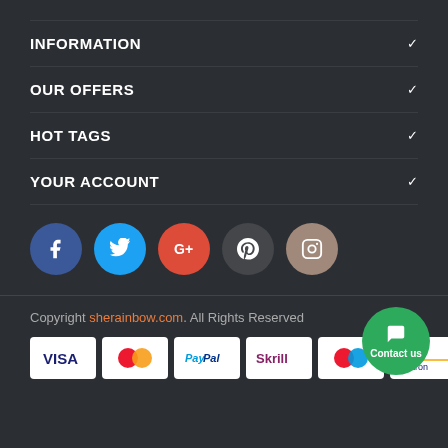INFORMATION
OUR OFFERS
HOT TAGS
YOUR ACCOUNT
[Figure (infographic): Social media icons: Facebook (blue), Twitter (cyan), Google+ (red), Pinterest (dark gray), Instagram (tan/brown)]
Copyright sherainbow.com. All Rights Reserved
[Figure (infographic): Payment method logos: VISA, MasterCard, PayPal, Skrill, Maestro, VISA Electron. Contact us button (green circle).]